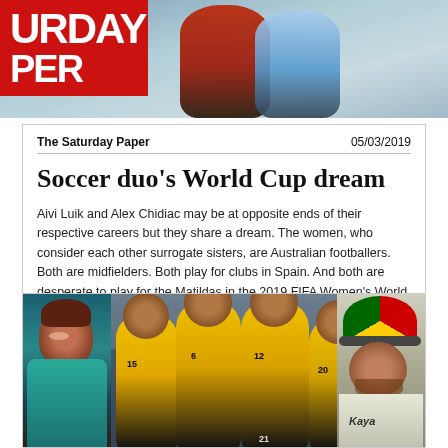[Figure (photo): Top banner with partial red newspaper logo text 'URDAY PER' and a photo of two women soccer players, one in red and one in blue/light uniform]
The Saturday Paper   05/03/2019
Soccer duo's World Cup dream
Aivi Luik and Alex Chidiac may be at opposite ends of their respective careers but they share a dream. The women, who consider each other surrogate sisters, are Australian footballers. Both are midfielders. Both play for clubs in Spain. And both are desperate to play for the Matildas in the 2019 FIFA Women's World Cup.
[Figure (photo): Bottom strip of three photos: left shows a smiling woman in a teal jacket; center shows Jamaican women's soccer team players in yellow uniforms celebrating; right shows a man wearing a Rastafarian hat (red, gold, green) with a Kaya shirt]